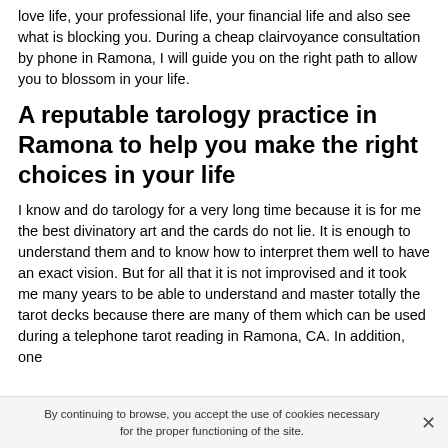love life, your professional life, your financial life and also see what is blocking you. During a cheap clairvoyance consultation by phone in Ramona, I will guide you on the right path to allow you to blossom in your life.
A reputable tarology practice in Ramona to help you make the right choices in your life
I know and do tarology for a very long time because it is for me the best divinatory art and the cards do not lie. It is enough to understand them and to know how to interpret them well to have an exact vision. But for all that it is not improvised and it took me many years to be able to understand and master totally the tarot decks because there are many of them which can be used during a telephone tarot reading in Ramona, CA. In addition, one
By continuing to browse, you accept the use of cookies necessary for the proper functioning of the site.